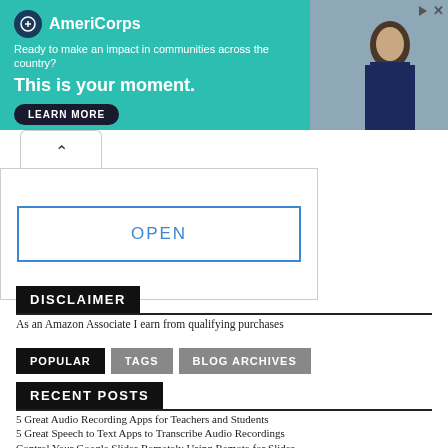[Figure (other): AmeriCorps advertisement banner. Teal background with logo, tagline 'Ready to make an impact in communities across the country?', slogan 'This is your moment.', and a LEARN MORE button. Photo of a student on the right side.]
OPEN
DISCLAIMER
As an Amazon Associate I earn from qualifying purchases
POPULAR   TAGS   BLOG ARCHIVES
RECENT POSTS
5 Great Audio Recording Apps for Teachers and Students
5 Great Speech to Text Apps to Transcribe Audio Recordings
Control Your Google Slides Remotely Using Remote for Slides